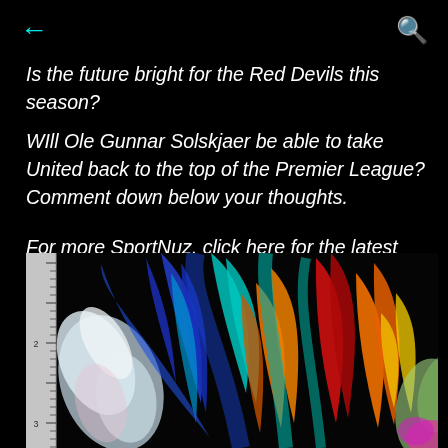← [back arrow]  [search icon]
Is the future bright for the Red Devils this season? WIll Ole Gunnar Solskjaer be able to take United back to the top of the Premier League? Comment down below your thoughts.
For more SportNuz, click here for the latest updates.
[Figure (photo): Colorful tropical bird-of-paradise flowers with vivid orange, blue, red, teal petals against black background, with a ruler/scale on the left edge]